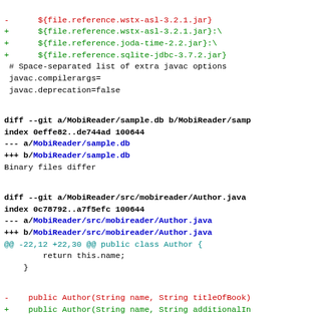diff --git code block showing file changes including MobiReader/sample.db and MobiReader/src/mobireader/Author.java with added/removed lines
- ${file.reference.wstx-asl-3.2.1.jar}
+ ${file.reference.wstx-asl-3.2.1.jar}:\
+ ${file.reference.joda-time-2.2.jar}:\
+ ${file.reference.sqlite-jdbc-3.7.2.jar}
 # Space-separated list of extra javac options
 javac.compilerargs=
 javac.deprecation=false
diff --git a/MobiReader/sample.db b/MobiReader/samp
index 0effe82..de744ad 100644
--- a/MobiReader/sample.db
+++ b/MobiReader/sample.db
Binary files differ
diff --git a/MobiReader/src/mobireader/Author.java
index 0c78792..a7f5efc 100644
--- a/MobiReader/src/mobireader/Author.java
+++ b/MobiReader/src/mobireader/Author.java
@@ -22,12 +22,30 @@ public class Author {
        return this.name;
    }

-    public Author(String name, String titleOfBook)
+    public Author(String name, String additionalIn
    {
-        writtenTitles.add(titleOfBook);
+        this.additionalInfo = additionalInfo;
        this.name = name;
    }

+    public Author(String name)